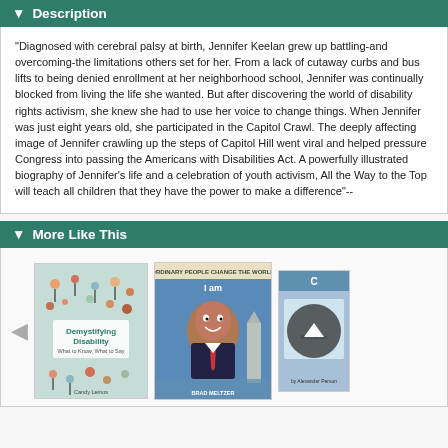Description
"Diagnosed with cerebral palsy at birth, Jennifer Keelan grew up battling-and overcoming-the limitations others set for her. From a lack of cutaway curbs and bus lifts to being denied enrollment at her neighborhood school, Jennifer was continually blocked from living the life she wanted. But after discovering the world of disability rights activism, she knew she had to use her voice to change things. When Jennifer was just eight years old, she participated in the Capitol Crawl. The deeply affecting image of Jennifer crawling up the steps of Capitol Hill went viral and helped pressure Congress into passing the Americans with Disabilities Act. A powerfully illustrated biography of Jennifer’s life and a celebration of youth activism, All the Way to the Top will teach all children that they have the power to make a difference"--
More Like This
[Figure (illustration): Three book covers shown in a carousel: 'Demystifying Disability', 'I am Martin Luther King Jr.' by Brad Meltzer, and a partially visible third book with a scroll-up button overlay.]